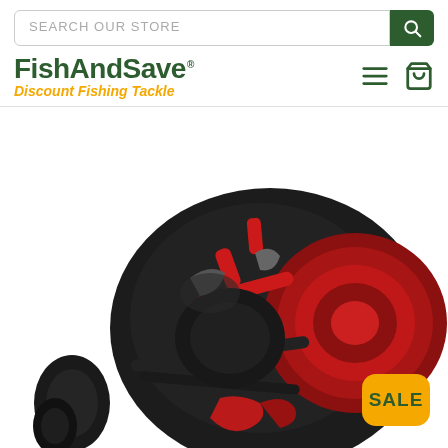SEARCH OUR STORE
[Figure (logo): FishAndSave.com logo with tagline 'Discount Fishing Tackle']
[Figure (photo): Close-up of a black and red fishing reel (conventional/baitcasting style) on white background, with a SALE badge overlay in the bottom right corner]